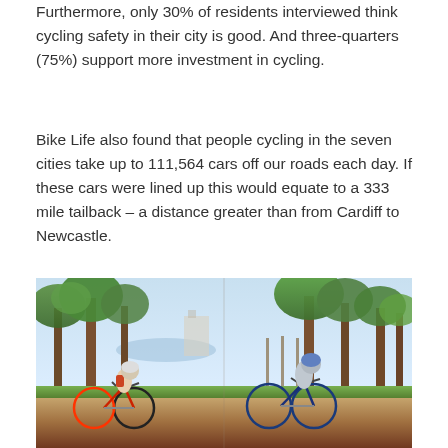Furthermore, only 30% of residents interviewed think cycling safety in their city is good. And three-quarters (75%) support more investment in cycling.
Bike Life also found that people cycling in the seven cities take up to 111,564 cars off our roads each day. If these cars were lined up this would equate to a 333 mile tailback – a distance greater than from Cardiff to Newcastle.
[Figure (photo): Two cyclists riding bicycles in a park setting with trees and greenery in the background. The left cyclist appears to be a child wearing a helmet and backpack on a red bicycle. The right cyclist appears to be an adult or older child wearing a helmet on a dark blue bicycle. The setting shows a sunny day in what appears to be a tree-lined park path.]